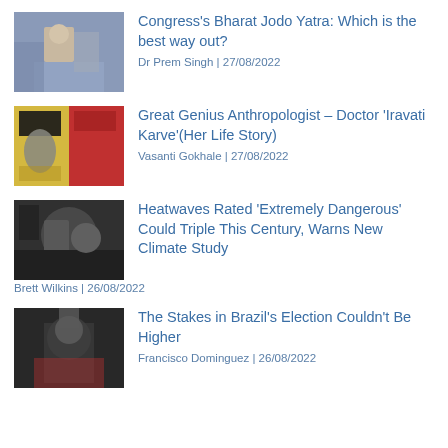[Figure (photo): Thumbnail photo of people at a political event]
Congress's Bharat Jodo Yatra: Which is the best way out?
Dr Prem Singh | 27/08/2022
[Figure (photo): Thumbnail showing a documentary or display about Iravati Karve]
Great Genius Anthropologist – Doctor 'Iravati Karve'(Her Life Story)
Vasanti Gokhale | 27/08/2022
[Figure (photo): Thumbnail photo related to heatwaves or climate]
Heatwaves Rated 'Extremely Dangerous' Could Triple This Century, Warns New Climate Study
Brett Wilkins | 26/08/2022
[Figure (photo): Thumbnail photo of Brazil election rally]
The Stakes in Brazil's Election Couldn't Be Higher
Francisco Dominguez | 26/08/2022